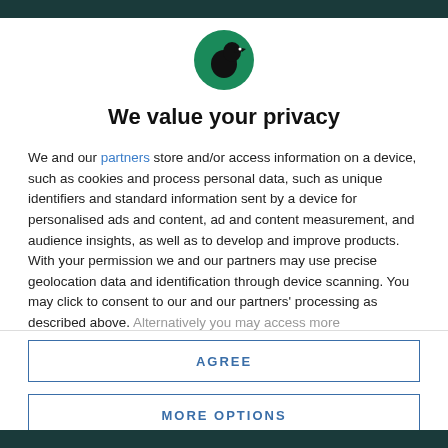[Figure (logo): Circular green logo with black silhouette of a bird/raven figure facing right]
We value your privacy
We and our partners store and/or access information on a device, such as cookies and process personal data, such as unique identifiers and standard information sent by a device for personalised ads and content, ad and content measurement, and audience insights, as well as to develop and improve products. With your permission we and our partners may use precise geolocation data and identification through device scanning. You may click to consent to our and our partners' processing as described above. Alternatively you may access more
AGREE
MORE OPTIONS